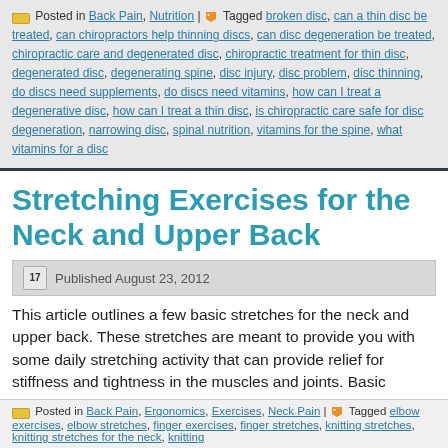Posted in Back Pain, Nutrition | Tagged broken disc, can a thin disc be treated, can chiropractors help thinning discs, can disc degeneration be treated, chiropractic care and degenerated disc, chiropractic treatment for thin disc, degenerated disc, degenerating spine, disc injury, disc problem, disc thinning, do discs need supplements, do discs need vitamins, how can I treat a degenerative disc, how can I treat a thin disc, is chiropractic care safe for disc degeneration, narrowing disc, spinal nutrition, vitamins for the spine, what vitamins for a disc
Stretching Exercises for the Neck and Upper Back
Published August 23, 2012
This article outlines a few basic stretches for the neck and upper back. These stretches are meant to provide you with some daily stretching activity that can provide relief for stiffness and tightness in the muscles and joints. Basic stretching exercises are easy to perform and the results can be helpful in controlling intermittent neck and upper back discomfort from repetitive or stressful activities....... Continue reading →
Posted in Back Pain, Ergonomics, Exercises, Neck Pain | Tagged elbow exercises, elbow stretches, finger exercises, finger stretches, knitting stretches, knitting stretches for the neck, knitting